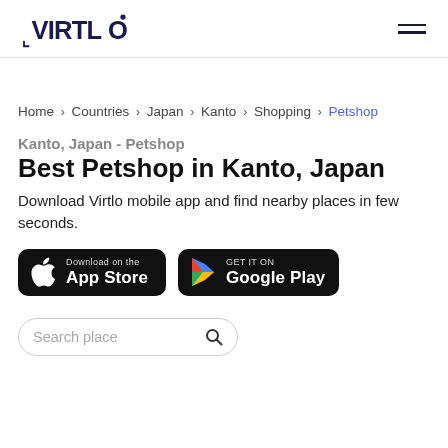VIRTLO [logo] [hamburger menu]
Home > Countries > Japan > Kanto > Shopping > Petshop
Kanto, Japan - Petshop
Best Petshop in Kanto, Japan
Download Virtlo mobile app and find nearby places in few seconds.
[Figure (screenshot): App Store download button (black, Apple logo)]
[Figure (screenshot): Google Play download button (black, Play Store triangle logo)]
Search place